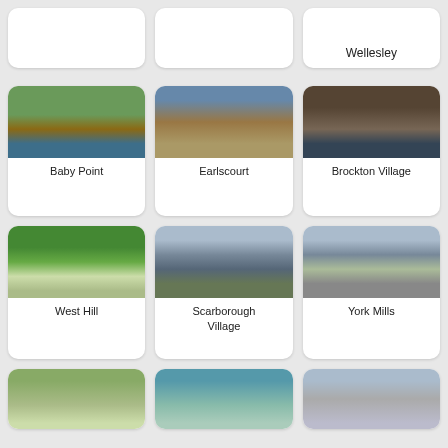[Figure (photo): Partial card top row - first card (empty/cut off)]
[Figure (photo): Partial card top row - second card (empty/cut off)]
Wellesley
[Figure (photo): Photo of Baby Point - river with green trees]
Baby Point
[Figure (photo): Photo of Earlscourt - La Paloma building storefront]
Earlscourt
[Figure (photo): Photo of Brockton Village - street shops]
Brockton Village
[Figure (photo): Photo of West Hill - park with waterfall and green trees]
West Hill
[Figure (photo): Photo of Scarborough Village - highway with tall building]
Scarborough Village
[Figure (photo): Photo of York Mills - busy road with cars]
York Mills
[Figure (photo): Partial bottom card - park scene]
[Figure (photo): Partial bottom card - waterfront/lake scene]
[Figure (photo): Partial bottom card - urban street with tall buildings]